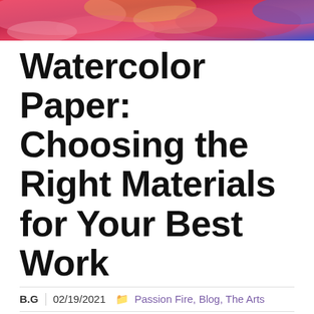[Figure (photo): Abstract colorful painting with red, pink, blue and gold swirling colors at the top of the page]
Watercolor Paper: Choosing the Right Materials for Your Best Work
B.G   02/19/2021   Passion Fire, Blog, The Arts
[Figure (infographic): Social sharing buttons: Facebook (blue), Twitter (light blue), Pinterest (red), WhatsApp (green), LinkedIn (teal)]
As you explore your artistic style, there are thousands of little decisions that you need to make. If you make the decision to